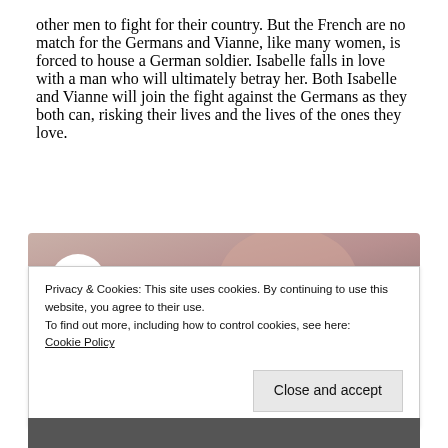other men to fight for their country.  But the French are no match for the Germans and Vianne, like many women, is forced to house a German soldier. Isabelle falls in love with a man who will ultimately betray her.  Both Isabelle and Vianne will join the fight against the Germans as they both can, risking their lives and the lives of the ones they love.
[Figure (screenshot): YouTube video thumbnail showing Kristin Hannah on THE NIGHTI... with St. Martin's Publishing Group logo circle on the left and a blurred background of a woman]
Privacy & Cookies: This site uses cookies. By continuing to use this website, you agree to their use.
To find out more, including how to control cookies, see here: Cookie Policy
Close and accept